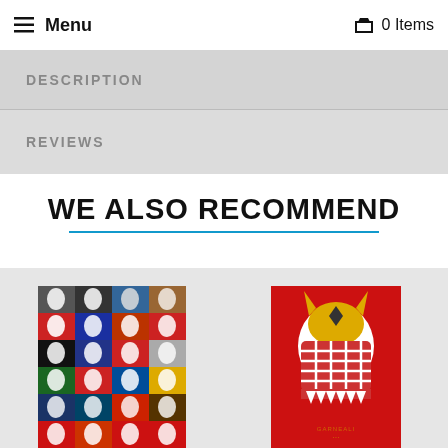≡ Menu  🛒 0 Items
DESCRIPTION
REVIEWS
WE ALSO RECOMMEND
[Figure (photo): A grid poster of colorful hockey goalie masks arranged in rows and columns on colored background squares.]
[Figure (illustration): A red poster featuring a stylized tiger/goalie mask illustration with text at the bottom.]